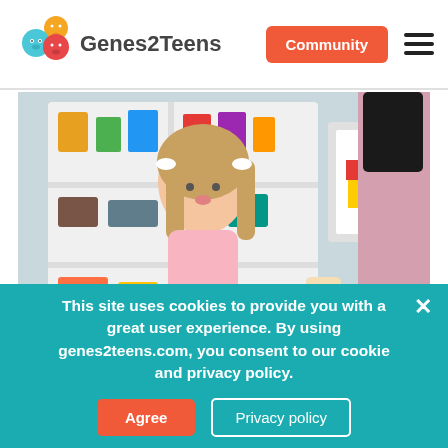[Figure (logo): Genes2Teens logo with colorful speech bubble character icons and text]
Community
[Figure (photo): A young girl with pigtails and a pink shirt looking at alphabet blocks being held by an adult in a classroom/therapy setting with colorful shelves in the background]
This site uses cookies to provide you with a great user experience. By using genes2teens.com, you consent to our cookie and privacy policy.
Agree
Privacy policy